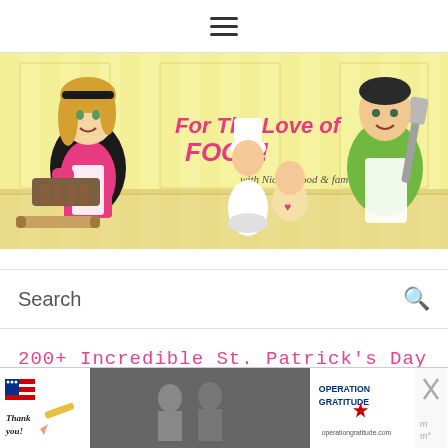☰ (hamburger menu icon)
[Figure (illustration): For The Love of Food! with Nicole Hood & family — illustrated banner featuring a woman in pink apron holding a cookie tray, a man in green shirt and white apron holding a spatula, a young girl in chef hat stirring a bowl, and a baby sitting, all against a yellow kitchen background.]
Search
200+ Incredible St. Patrick's Day
[Figure (photo): Advertisement banner: Thank you with American flag design on left, military photo in center, Operation Gratitude logo on right, with close X button.]